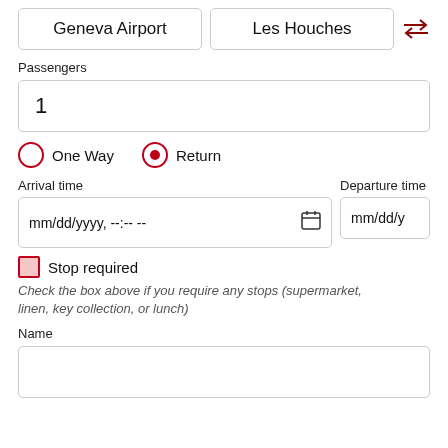Geneva Airport | Les Houches
Passengers
1
One Way  Return
Arrival time
mm/dd/yyyy, --:-- --
Departure time
mm/dd/y
Stop required
Check the box above if you require any stops (supermarket, linen, key collection, or lunch)
Name